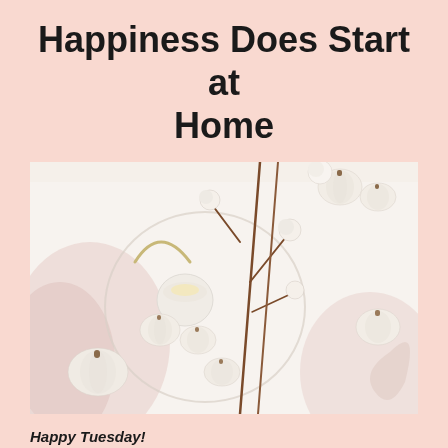Happiness Does Start at Home
[Figure (photo): Flat lay photo of white mini pumpkins, cotton stems, a white candle on a round tray, and decorative foliage arranged on a white surface with a blush pink textile.]
Happy Tuesday!
It's election day in the United States, and it's the day